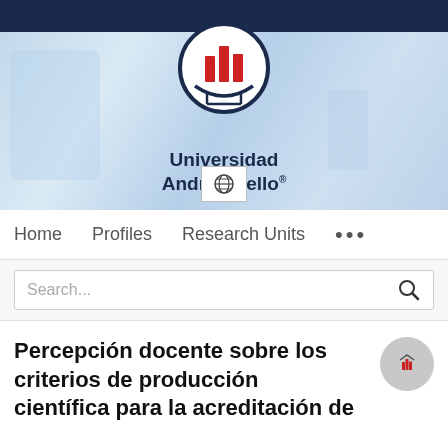[Figure (logo): Universidad Andrés Bello logo — circular emblem with red building silhouette on white background with dark navy border, above the text 'Universidad Andrés Bello' on a blue science laboratory banner background with a globe icon button below]
Home   Profiles   Research Units   ...
Search...
Percepción docente sobre los criterios de producción científica para la acreditación de